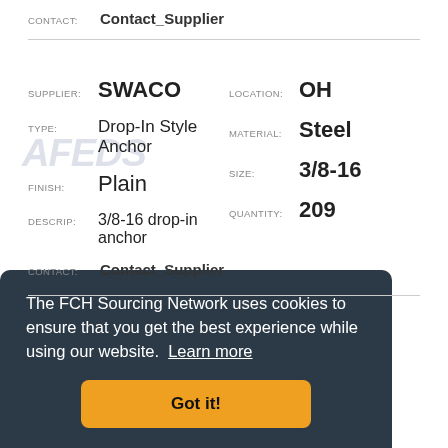CONTACT: Contact_Supplier
SUPPLIER: SWACO | LOCATION: OH
TYPE: Drop-In Style Anchor | MATERIAL: Steel
FINISH: Plain | SIZE: 3/8-16
DESCRIP: 3/8-16 drop-in anchor | QUANTITY: 209
CONTACT: Contact_Supplier
The FCH Sourcing Network uses cookies to ensure that you get the best experience while using our website. Learn more
Got it!